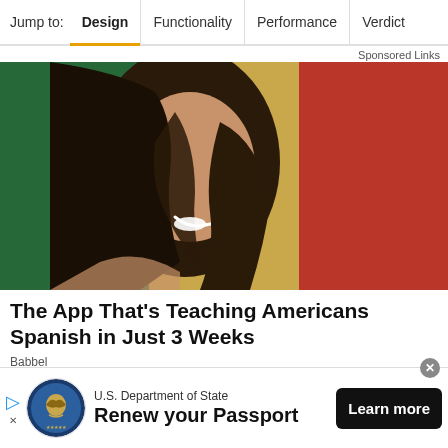Jump to: Design | Functionality | Performance | Verdict
Sponsored Links
[Figure (photo): Woman with long dark hair laughing, overlaid on a Mexican flag with three vertical stripes (green, gold/white with eagle emblem, red)]
The App That’s Teaching Americans Spanish in Just 3 Weeks
Babbel
[Figure (logo): U.S. Department of State seal logo (circular blue and gold emblem)]
U.S. Department of State
Renew your Passport
Learn more